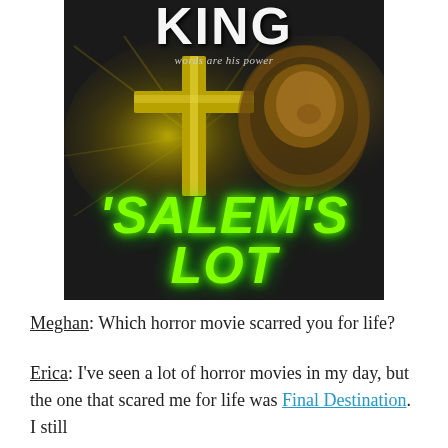[Figure (illustration): Book cover of 'Salem's Lot by Stephen King. Dark background with glowing cross and a lion's face. Green dripping horror-style title text reading "'Salem's Lot" at the bottom. Top reads "KING words are his power".]
Meghan: Which horror movie scarred you for life?
Erica: I've seen a lot of horror movies in my day, but the one that scared me for life was Final Destination. I still